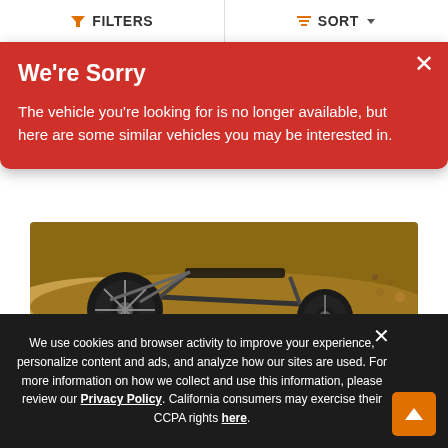FILTERS | SORT
We're Sorry
The vehicle you're looking for is no longer available, but here are some similar vehicles you may be interested in.
[Figure (photo): Dirt bike / motocross motorcycle riding through sandy terrain, close-up of rear wheel with mud and dirt]
New 2022 Kawasaki KX450
$8,349
Color   Lime Green
We use cookies and browser activity to improve your experience, personalize content and ads, and analyze how our sites are used. For more information on how we collect and use this information, please review our Privacy Policy. California consumers may exercise their CCPA rights here.